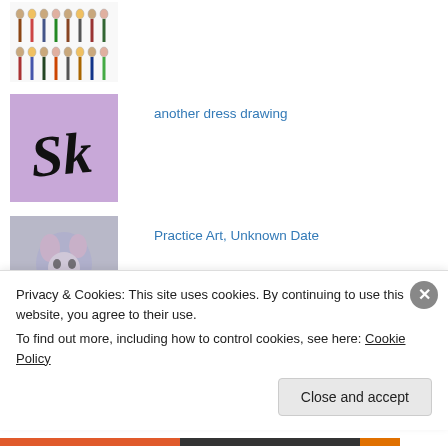[Figure (photo): Thumbnail showing a row of illustrated fashion figures/dress drawings on white background]
[Figure (photo): Thumbnail with purple background and black cursive 'Sk' handwriting/logo]
another dress drawing
[Figure (photo): Thumbnail showing a painted animal figure (appears to be a mouse or similar creature) with colorful brushwork]
Practice Art, Unknown Date
[Figure (photo): Thumbnail with purple tones partially visible - Fashion at the ASA Art Market thumbnail]
Fashion at the ASA Art Market
Privacy & Cookies: This site uses cookies. By continuing to use this website, you agree to their use.
To find out more, including how to control cookies, see here: Cookie Policy
Close and accept